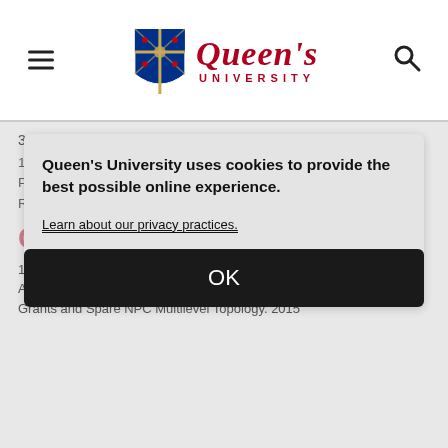Queen's University header with logo, hamburger menu, and search icon
3105.
14. W. Eberle, Z. Zhang, Y.F. Liu, P.C. Sen (2009). A Practical Switching Loss Model for Buck Voltage Regulators. IEEE Transactions on Power Electronics
Conference Publications
1. Hongliang Wang, YanFei Liu and Paresh Sen (2015). A Neutral Point Clamped Multilevel Topology Flow Grants and Spare NPC Multilevel Topology 2015
Queen's University uses cookies to provide the best possible online experience.
Learn about our privacy practices.
OK